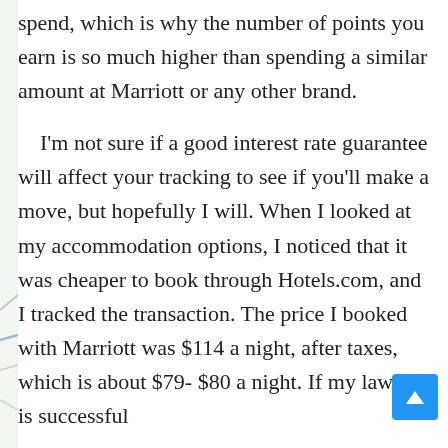spend, which is why the number of points you earn is so much higher than spending a similar amount at Marriott or any other brand.
I'm not sure if a good interest rate guarantee will affect your tracking to see if you'll make a move, but hopefully I will. When I looked at my accommodation options, I noticed that it was cheaper to book through Hotels.com, and I tracked the transaction. The price I booked with Marriott was $114 a night, after taxes, which is about $79- $80 a night. If my lawsuit is successful